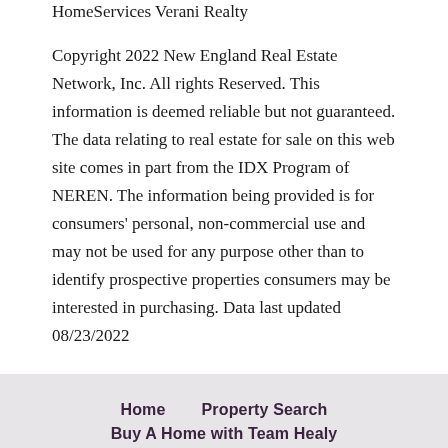HomeServices Verani Realty
Copyright 2022 New England Real Estate Network, Inc. All rights Reserved. This information is deemed reliable but not guaranteed. The data relating to real estate for sale on this web site comes in part from the IDX Program of NEREN. The information being provided is for consumers' personal, non-commercial use and may not be used for any purpose other than to identify prospective properties consumers may be interested in purchasing. Data last updated 08/23/2022
Home   Property Search   Buy A Home with Team Healy   Sell My House with Team Healy   About Us
BERKSHIRE | Verani Realty